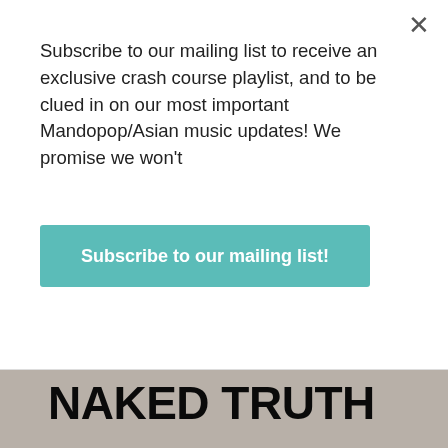[Figure (photo): Woman with round blue sunglasses lying on bed reading a book, photoshoot style, with Photoshop interface and dialog box overlays visible. Text 'NAKED TRUTH' at bottom left.]
Subscribe to our mailing list to receive an exclusive crash course playlist, and to be clued in on our most important Mandopop/Asian music updates! We promise we won't
Subscribe to our mailing list!
NAKED TRUTH